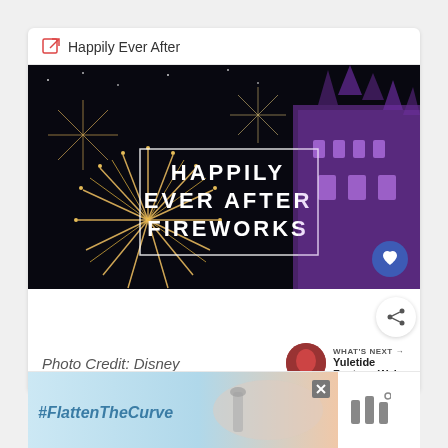Happily Ever After
[Figure (photo): Nighttime fireworks display over an illuminated purple castle (Cinderella Castle at Walt Disney World). Text overlay reads 'HAPPILY EVER AFTER FIREWORKS' in white bold letters inside a white rectangle border. A heart/favorite button appears at bottom right.]
Photo Credit: Disney
WHAT'S NEXT → Yuletide Fantasy Wal...
[Figure (photo): Advertisement banner reading #FlattenTheCurve with an image of hands being washed at a faucet. Close button (X) visible. Logo on right side shows three vertical bars with a degree symbol.]